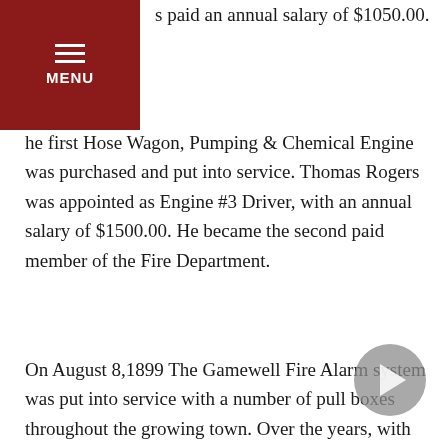…roker was appointed to the job of Chief's Driver and was paid an annual salary of $1050.00.
…the first Hose Wagon, Pumping & Chemical Engine was purchased and put into service. Thomas Rogers was appointed as Engine #3 Driver, with an annual salary of $1500.00. He became the second paid member of the Fire Department.
On August 8,1899 The Gamewell Fire Alarm system was put into service with a number of pull boxes throughout the growing town. Over the years, with the addition of a new switchboard, transmitter and repeater and additional pull boxes. In 1913 there were thirty-three boxes. This system needed to be maintained, George M. Smack was appointed to the job on December 15,1917 at an annual salary of $1600.00. He was the third paid member. By the end of July 1919, there were 21 paid members in the volunteer ranks.